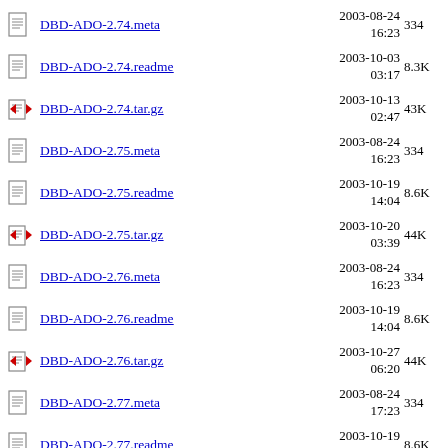DBD-ADO-2.74.meta  2003-08-24 16:23  334
DBD-ADO-2.74.readme  2003-10-03 03:17  8.3K
DBD-ADO-2.74.tar.gz  2003-10-13 02:47  43K
DBD-ADO-2.75.meta  2003-08-24 16:23  334
DBD-ADO-2.75.readme  2003-10-19 14:04  8.6K
DBD-ADO-2.75.tar.gz  2003-10-20 03:39  44K
DBD-ADO-2.76.meta  2003-08-24 16:23  334
DBD-ADO-2.76.readme  2003-10-19 14:04  8.6K
DBD-ADO-2.76.tar.gz  2003-10-27 06:20  44K
DBD-ADO-2.77.meta  2003-08-24 17:23  334
DBD-ADO-2.77.readme  2003-10-19 15:04  8.6K
DBD-ADO-2.77.tar.gz  2003-11-03  ...